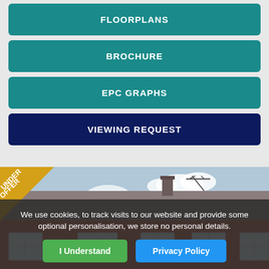FLOORPLANS
BROCHURE
EPC GRAPHS
VIEWING REQUEST
[Figure (photo): Exterior photo of a red brick terraced house row with a tiled roof, white windows, and TV aerials, with an 'Under Offer' badge in the top-left corner.]
We use cookies, to track visits to our website and provide some optional personalisation, we store no personal details.
I Understand
Privacy Policy